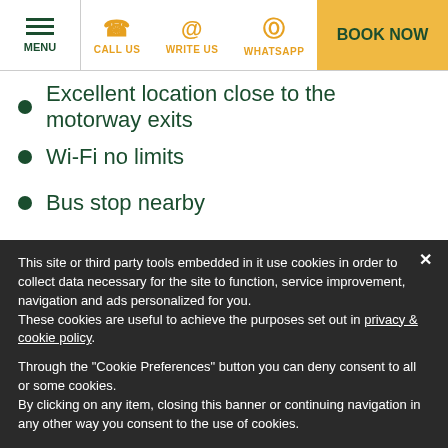MENU | CALL US | WRITE US | WHATSAPP | BOOK NOW
Excellent location close to the motorway exits
Wi-Fi no limits
Bus stop nearby
Free parking
Big garden
Great breakfast
This site or third party tools embedded in it use cookies in order to collect data necessary for the site to function, service improvement, navigation and ads personalized for you.
These cookies are useful to achieve the purposes set out in privacy & cookie policy.
Through the "Cookie Preferences" button you can deny consent to all or some cookies.
By clicking on any item, closing this banner or continuing navigation in any other way you consent to the use of cookies.
Cookie preferences | ✔ accept